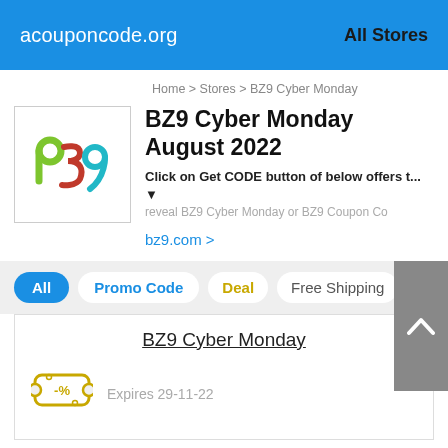acouponcode.org | All Stores
Home > Stores > BZ9 Cyber Monday
BZ9 Cyber Monday August 2022
Click on Get CODE button of below offers t... ▼ reveal BZ9 Cyber Monday or BZ9 Coupon Co
bz9.com >
All   Promo Code   Deal   Free Shipping
BZ9 Cyber Monday
Expires 29-11-22